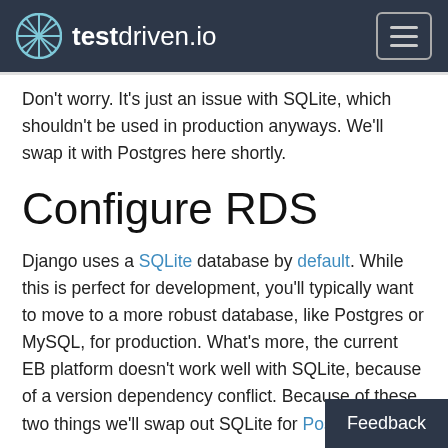testdriven.io
Don't worry. It's just an issue with SQLite, which shouldn't be used in production anyways. We'll swap it with Postgres here shortly.
Configure RDS
Django uses a SQLite database by default. While this is perfect for development, you'll typically want to move to a more robust database, like Postgres or MySQL, for production. What's more, the current EB platform doesn't work well with SQLite, because of a version dependency conflict. Because of these two things we'll swap out SQLite for Postgres.